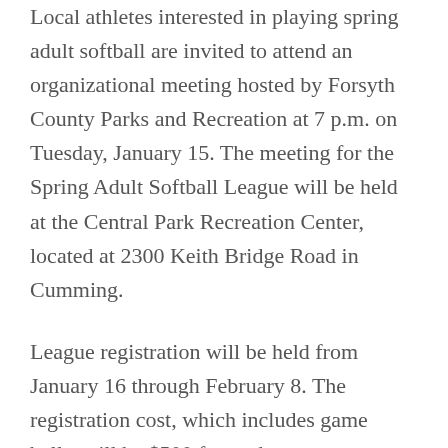Local athletes interested in playing spring adult softball are invited to attend an organizational meeting hosted by Forsyth County Parks and Recreation at 7 p.m. on Tuesday, January 15. The meeting for the Spring Adult Softball League will be held at the Central Park Recreation Center, located at 2300 Keith Bridge Road in Cumming.
League registration will be held from January 16 through February 8. The registration cost, which includes game balls, will be $500 for each team.
Teams may register at the Central Park main office, located at 2300 Keith Bridge Road,